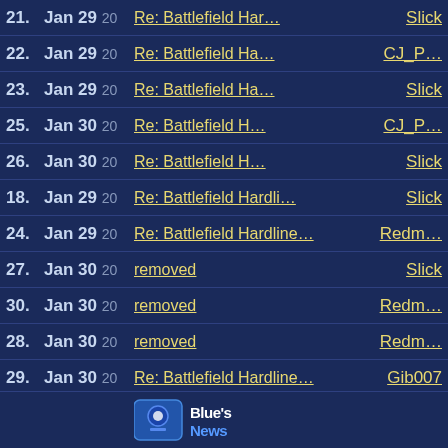21. Jan 29 20 Re: Battlefield Har... Slick
22. Jan 29 20 Re: Battlefield Ha... CJ_P...
23. Jan 29 20 Re: Battlefield Ha... Slick
25. Jan 30 20 Re: Battlefield H... CJ_P...
26. Jan 30 20 Re: Battlefield H... Slick
18. Jan 29 20 Re: Battlefield Hardli... Slick
24. Jan 29 20 Re: Battlefield Hardline... Redm...
27. Jan 30 20 removed Slick
30. Jan 30 20 removed Redm...
28. Jan 30 20 removed Redm...
29. Jan 30 20 Re: Battlefield Hardline... Gib007
31. Jan 30 20 Re: Battlefield Hardline... jdreyer
[Figure (logo): Blue's News logo at the bottom of the page]